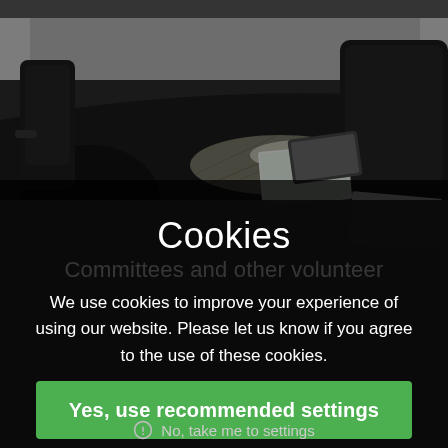[Figure (photo): Conference room with dark wooden table, black ergonomic chairs, notebooks and tablet on the table, bright glare reflecting off the table surface]
Cookies
Committees and other volunteer
We use cookies to improve your experience of using our website. Please let us know if you agree to the use of these cookies.
Yes, use recommended settings
No, take me to settings